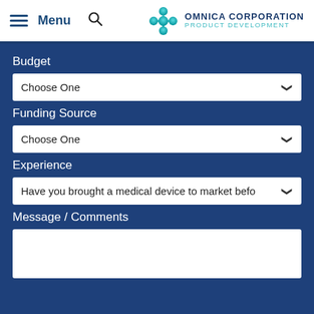Menu | Omnica Corporation Product Development
Budget
Choose One
Funding Source
Choose One
Experience
Have you brought a medical device to market befo
Message / Comments